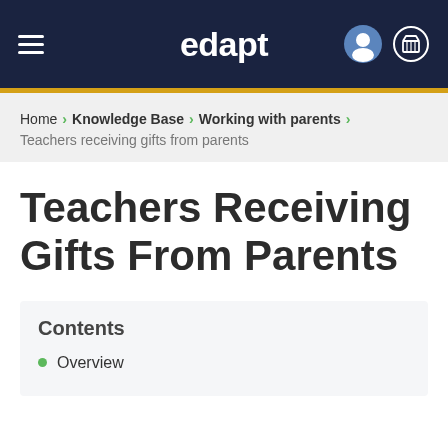edapt
Home > Knowledge Base > Working with parents > Teachers receiving gifts from parents
Teachers Receiving Gifts From Parents
Contents
Overview